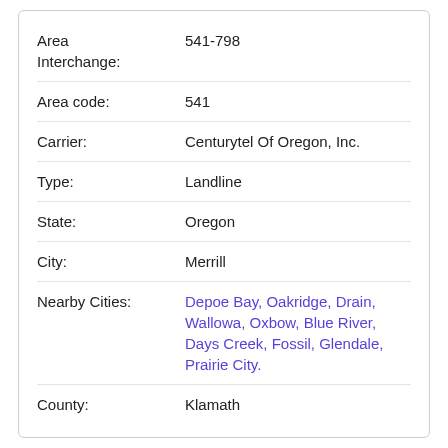Area Interchange: 541-798
Area code: 541
Carrier: Centurytel Of Oregon, Inc.
Type: Landline
State: Oregon
City: Merrill
Nearby Cities: Depoe Bay, Oakridge, Drain, Wallowa, Oxbow, Blue River, Days Creek, Fossil, Glendale, Prairie City.
County: Klamath